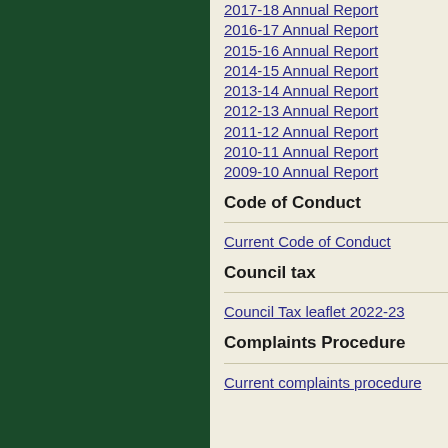2017-18 Annual Report
2016-17 Annual Report
2015-16 Annual Report
2014-15 Annual Report
2013-14 Annual Report
2012-13 Annual Report
2011-12 Annual Report
2010-11 Annual Report
2009-10 Annual Report
Code of Conduct
Current Code of Conduct
Council tax
Council Tax leaflet 2022-23
Complaints Procedure
Current complaints procedure